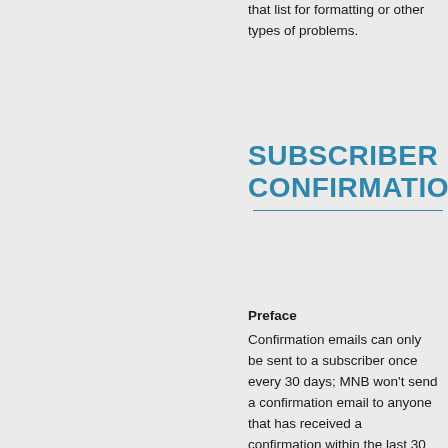that list for formatting or other types of problems.
SUBSCRIBER CONFIRMATION
Preface
Confirmation emails can only be sent to a subscriber once every 30 days; MNB won't send a confirmation email to anyone that has received a confirmation within the last 30 days.